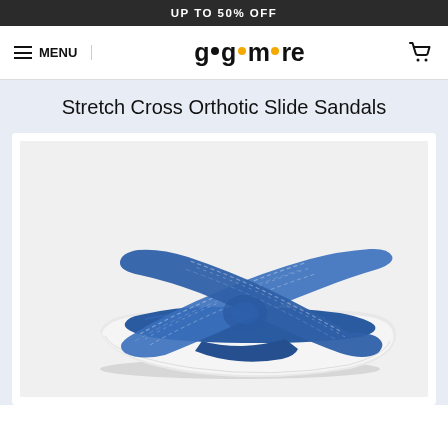UP TO 50% OFF
[Figure (logo): GoGoMore logo with hamburger menu and cart icon navigation bar]
Stretch Cross Orthotic Slide Sandals
[Figure (photo): Blue stretch cross orthotic slide sandal with white sole, woven cross-strap design, on white background]